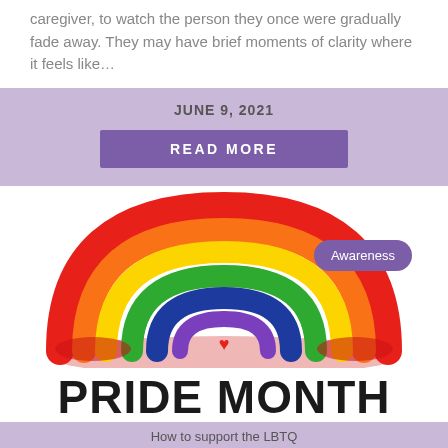caregiver, to watch the person they once were gradually fade away. They may have brief moments of clarity where it feels like…
JUNE 9, 2021
READ MORE
[Figure (illustration): Rainbow illustration with LGBTQ pride colors (red, orange, yellow, green, blue, purple arcs) with a small red heart at the base center, and a purple 'Awareness' badge overlaid on the right side]
PRIDE MONTH
2021
How to support the LBTQ